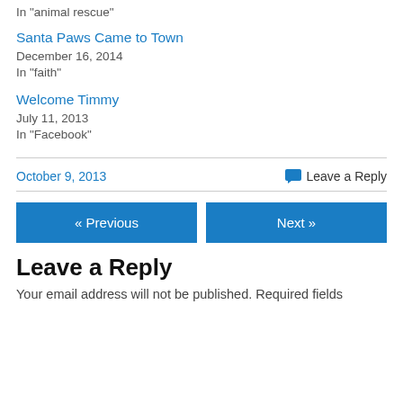In "animal rescue"
Santa Paws Came to Town
December 16, 2014
In "faith"
Welcome Timmy
July 11, 2013
In "Facebook"
October 9, 2013
Leave a Reply
« Previous
Next »
Leave a Reply
Your email address will not be published. Required fields